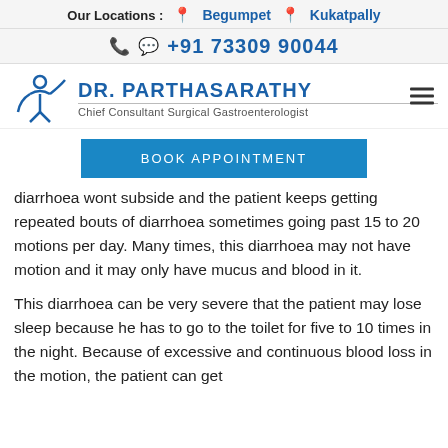Our Locations : Begumpet  Kukatpally
+91 73309 90044
[Figure (logo): Dr. Parthasarathy logo with stylized figure and text: DR. PARTHASARATHY, Chief Consultant Surgical Gastroenterologist]
BOOK APPOINTMENT
diarrhoea wont subside and the patient keeps getting repeated bouts of diarrhoea sometimes going past 15 to 20 motions per day. Many times, this diarrhoea may not have motion and it may only have mucus and blood in it.
This diarrhoea can be very severe that the patient may lose sleep because he has to go to the toilet for five to 10 times in the night. Because of excessive and continuous blood loss in the motion, the patient can get